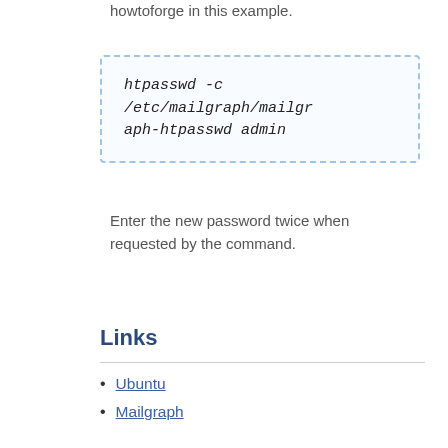howtoforge in this example.
htpasswd -c /etc/mailgraph/mailgraph-htpasswd admin
Enter the new password twice when requested by the command.
Links
Ubuntu
Mailgraph